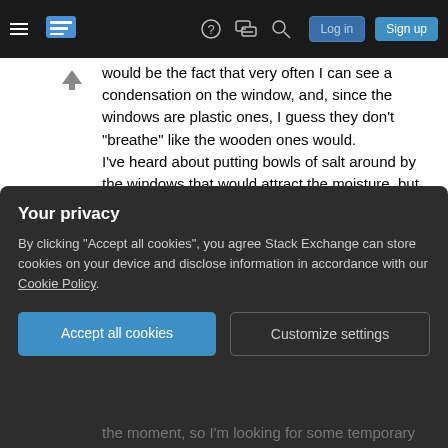Stack Exchange navigation bar with hamburger menu, logo, help, chat, search icons, Log in and Sign up buttons
would be the fact that very often I can see a condensation on the window, and, since the windows are plastic ones, I guess they don't "breathe" like the wooden ones would.
I've heard about putting bowls of salt around by the windows that would attract the moisture, but some suggest other substances like silica gel since they absorb the moisture better. Problems I see with getting silica gel are that I'm not sure where to get it for starters, am not sure about the price - whether it wouldn't be too pricy and, since I own a cat, I don't
Your privacy
By clicking "Accept all cookies", you agree Stack Exchange can store cookies on your device and disclose information in accordance with our Cookie Policy.
Accept all cookies  Customize settings
the moment, so I'm looking for some temporary solution.